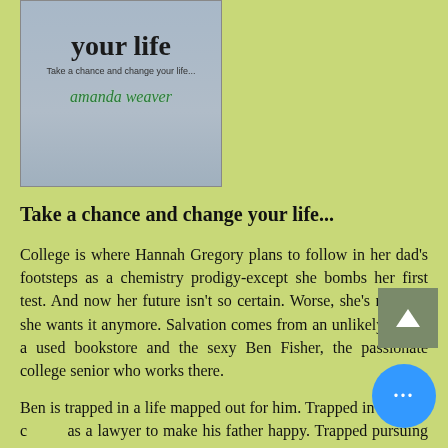[Figure (illustration): Book cover for 'Change Your Life' by Amanda Weaver, showing title text 'your life', subtitle 'Take a chance and change your life...' and author name 'amanda weaver' in green text, on a gray background.]
Take a chance and change your life...
College is where Hannah Gregory plans to follow in her dad's footsteps as a chemistry prodigy-except she bombs her first test. And now her future isn't so certain. Worse, she's not sure she wants it anymore. Salvation comes from an unlikely place-a used bookstore and the sexy Ben Fisher, the passionate college senior who works there.
Ben is trapped in a life mapped out for him. Trapped in a future as a lawyer to make his father happy. Trapped pursuing a girl he doesn't like the way he first...